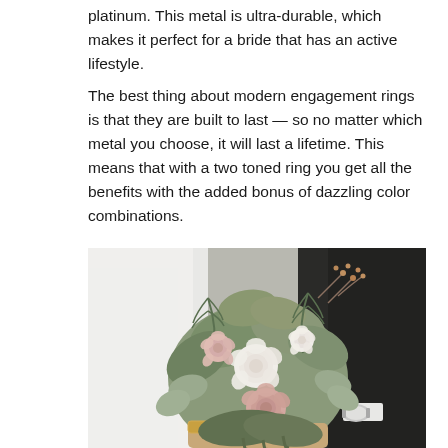platinum. This metal is ultra-durable, which makes it perfect for a bride that has an active lifestyle.
The best thing about modern engagement rings is that they are built to last — so no matter which metal you choose, it will last a lifetime. This means that with a two toned ring you get all the benefits with the added bonus of dazzling color combinations.
[Figure (photo): A bride in a white dress and a groom in a dark suit holding a bridal bouquet with pink and white flowers, greenery, and botanical sprigs. The groom's hand is visible wearing a silver watch.]